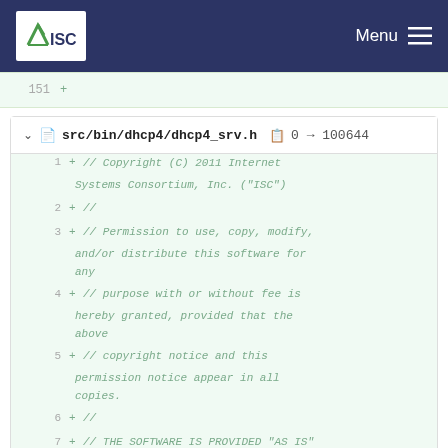ISC | Menu
151  +
src/bin/dhcp4/dhcp4_srv.h  0 → 100644
1  + // Copyright (C) 2011  Internet Systems Consortium, Inc. ("ISC")
2  + //
3  + // Permission to use, copy, modify, and/or distribute this software for any
4  + // purpose with or without fee is hereby granted, provided that the above
5  + // copyright notice and this permission notice appear in all copies.
6  + //
7  + // THE SOFTWARE IS PROVIDED "AS IS" AND ISC DISCLAIMS ALL WARRANTIES WITH